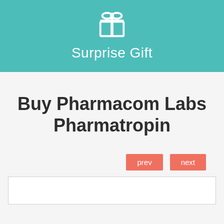[Figure (illustration): Teal banner with white gift box icon and text 'Surprise Gift']
Buy Pharmacom Labs Pharmatropin
prev  next
[Figure (other): White content box with border at the bottom of the page]